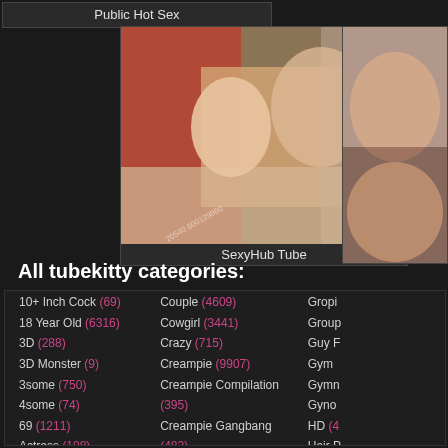Public Hot Sex
[Figure (photo): Thumbnail photo for SexyHub Tube]
SexyHub Tube
[Figure (photo): Partial thumbnail photo on right side]
All tubekitty categories:
10+ Inch Cock (69)
18 Year Old (6316)
3D (288)
3D Monster (9)
3some (750)
4some (74)
69 (1211)
Actress (108)
Adorable (162)
Couple (4609)
Cowgirl (3441)
Crazy (715)
Creampie (9907)
Creampie Compilation (395)
Creampie Gangbang (482)
Crosssdressing (199)
Cuban (116)
Cuckold (6126)
Gropi...
Group...
Guy F...
Gym ...
Gymn...
Gyno...
HD (4...
Hair P...
Hairp...